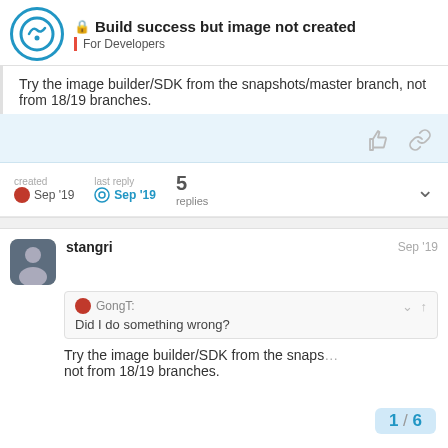Build success but image not created | For Developers
Try the image builder/SDK from the snapshots/master branch, not from 18/19 branches.
created Sep '19  last reply Sep '19  5 replies
stangri  Sep '19
GongT:
Did I do something wrong?
Try the image builder/SDK from the snaps... not from 18/19 branches.
1 / 6